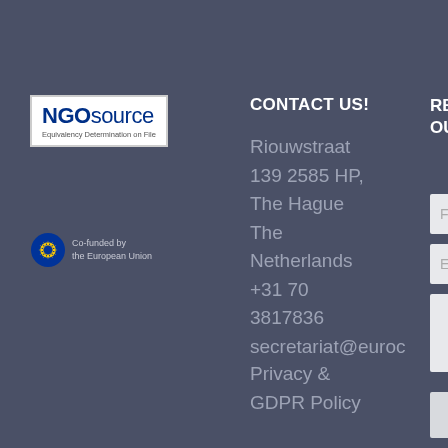[Figure (logo): NGOsource logo with text 'NGOsource' and subtitle 'Equivalency Determination on File']
[Figure (logo): Co-funded by the European Union logo with EU circle of stars emblem]
CONTACT US!
Riouwstraat 139 2585 HP, The Hague
The Netherlands
+31 70 3817836
secretariat@euroc
REGISTER FOR OUR NEWS
[Figure (screenshot): Newsletter registration form with First/Last name fields, Email field, CAPTCHA checkbox with 'I am hu' text and 'Privacy - Terms' link, and a Submit button]
Privacy &
GDPR Policy